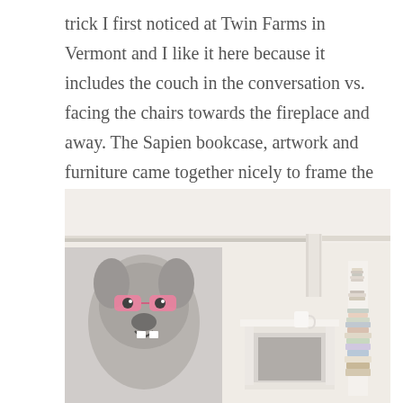trick I first noticed at Twin Farms in Vermont and I like it here because it includes the couch in the conversation vs. facing the chairs towards the fireplace and away. The Sapien bookcase, artwork and furniture came together nicely to frame the fireplace until the rug comes in.
[Figure (photo): Interior living room photo showing a white-walled room with ornate crown molding. On the left is a large artwork depicting a French bulldog wearing pink sunglasses. To the right is a white fireplace mantel with a white mug on top. On the far right is a tall stack of books forming a Sapien bookcase. The room has a light, neutral palette.]